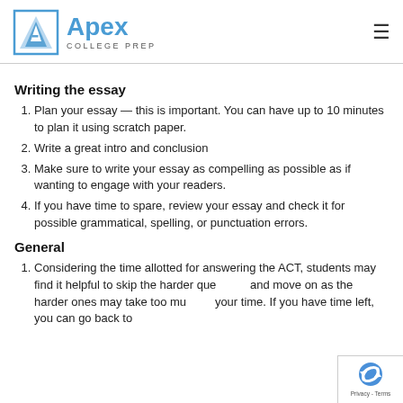Apex College Prep
Writing the essay
Plan your essay — this is important. You can have up to 10 minutes to plan it using scratch paper.
Write a great intro and conclusion
Make sure to write your essay as compelling as possible as if wanting to engage with your readers.
If you have time to spare, review your essay and check it for possible grammatical, spelling, or punctuation errors.
General
Considering the time allotted for answering the ACT, students may find it helpful to skip the harder questions and move on as the harder ones may take too much of your time. If you have time left, you can go back to the harder questions.